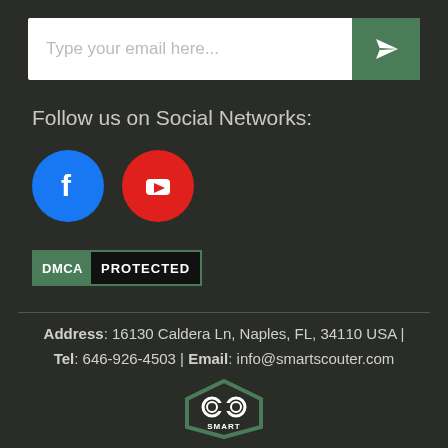[Figure (other): Email input field with green send button (paper plane icon)]
Follow us on Social Networks:
[Figure (other): Facebook logo (blue circle with white 'f') and YouTube logo (red circle with white play button triangle)]
[Figure (other): DMCA PROTECTED badge - green DMCA label on dark background]
Address: 16130 Caldera Ln, Naples, FL, 34110 USA |
Tel: 646-926-4503 | Email: info@smartscouter.com
[Figure (logo): Smart Scouter logo - hexagon shape with binoculars icon and SMART text]